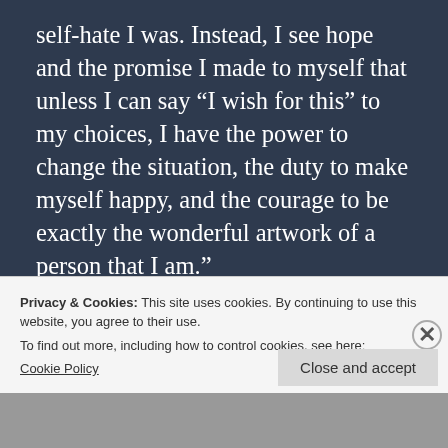self-hate I was. Instead, I see hope and the promise I made to myself that unless I can say “I wish for this” to my choices, I have the power to change the situation, the duty to make myself happy, and the courage to be exactly the wonderful artwork of a person that I am.”
With that in mind, I went to work
Privacy & Cookies: This site uses cookies. By continuing to use this website, you agree to their use.
To find out more, including how to control cookies, see here: Cookie Policy
Close and accept